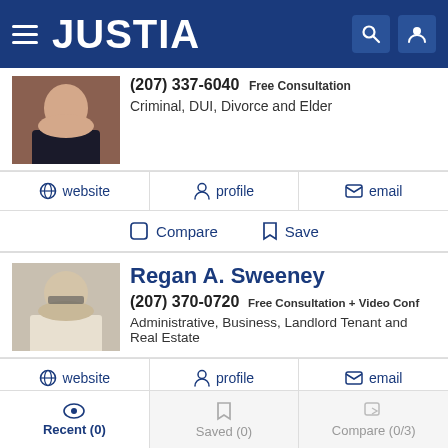JUSTIA
(207) 337-6040 Free Consultation
Criminal, DUI, Divorce and Elder
website | profile | email
Compare | Save
Regan A. Sweeney
(207) 370-0720 Free Consultation + Video Conf
Administrative, Business, Landlord Tenant and Real Estate
website | profile | email
Compare | Save
Recent (0) | Saved (0) | Compare (0/3)